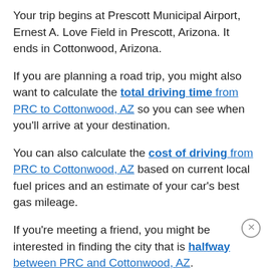Your trip begins at Prescott Municipal Airport, Ernest A. Love Field in Prescott, Arizona. It ends in Cottonwood, Arizona.
If you are planning a road trip, you might also want to calculate the total driving time from PRC to Cottonwood, AZ so you can see when you'll arrive at your destination.
You can also calculate the cost of driving from PRC to Cottonwood, AZ based on current local fuel prices and an estimate of your car's best gas mileage.
If you're meeting a friend, you might be interested in finding the city that is halfway between PRC and Cottonwood, AZ.
Planning to fly a plane instead? You might be more interested in calculating the straight line distance to fly from PRC to Cottonwood, AZ